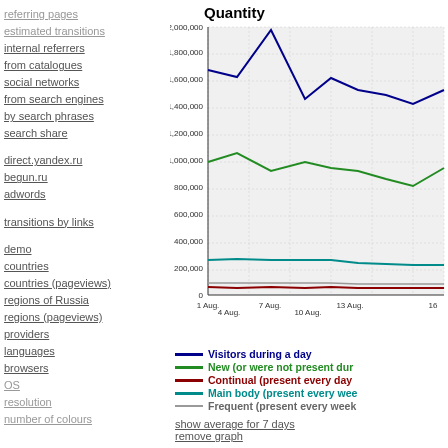referring pages
estimated transitions
internal referrers
from catalogues
social networks
from search engines
by search phrases
search share
direct.yandex.ru
begun.ru
adwords
transitions by links
demo
countries
countries (pageviews)
regions of Russia
regions (pageviews)
providers
languages
browsers
OS
resolution
number of colours
Quantity
[Figure (line-chart): Quantity]
show average for 7 days
remove graph